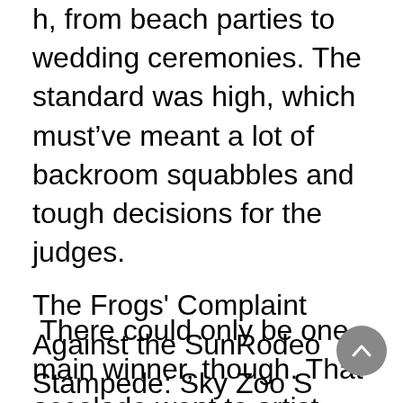h, from beach parties to wedding ceremonies. The standard was high, which must've meant a lot of backroom squabbles and tough decisions for the judges.   There could only be one main winner, though. That accolade went to artist Ren Tian for their work "Memory Fragment", starring Jane in all her undead, purple-haired glory. Second prize went to two artists: 'Meling' for their depiction of Shea, and 'Chibi Vanille' for "A new bride's dream". 54 entrants in total received prizes for their artistic efforts. But perhaps most exciting of all – Vespa has plans to use the submitted work in exhibitions and fan merchandise.  You can browse through all the submissions within the game itself – simply log in or download King's Raid from the App Store or Google Play. Alternatively, you can take a look at the art on the main competition page: https://www.pixiv.net/contest/kingsraid/
The Frogs' Complaint Against the SunRodeo Stampede: Sky Zoo S